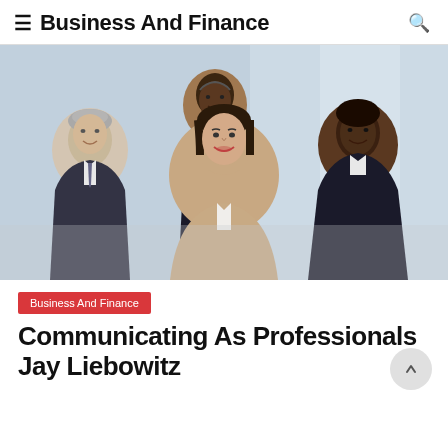≡ Business And Finance 🔍
[Figure (photo): Group of four smiling business professionals standing together in an office setting. Front center: woman in beige blazer. Left: older man with grey hair in dark suit. Back center: tall Black man in dark suit with blue tie. Right: Black woman in dark blazer.]
Business And Finance
Communicating As Professionals Jay Liebowitz